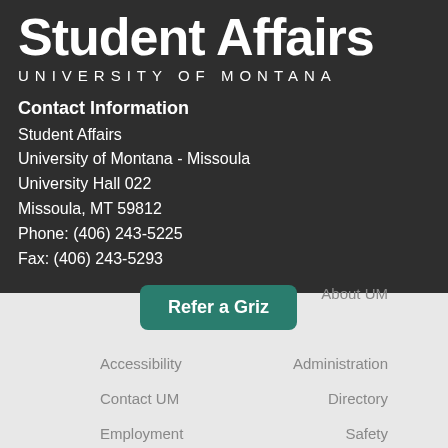Student Affairs
UNIVERSITY OF MONTANA
Contact Information
Student Affairs
University of Montana - Missoula
University Hall 022
Missoula, MT 59812
Phone: (406) 243-5225
Fax: (406) 243-5293
Refer a Griz
About UM
Accessibility
Administration
Contact UM
Directory
Employment
Safety
Privacy Policy
Campus Map